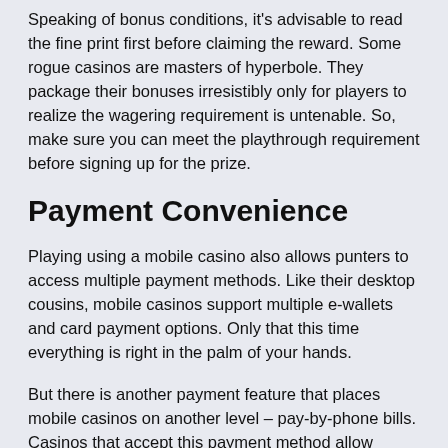Speaking of bonus conditions, it's advisable to read the fine print first before claiming the reward. Some rogue casinos are masters of hyperbole. They package their bonuses irresistibly only for players to realize the wagering requirement is untenable. So, make sure you can meet the playthrough requirement before signing up for the prize.
Payment Convenience
Playing using a mobile casino also allows punters to access multiple payment methods. Like their desktop cousins, mobile casinos support multiple e-wallets and card payment options. Only that this time everything is right in the palm of your hands.
But there is another payment feature that places mobile casinos on another level – pay-by-phone bills. Casinos that accept this payment method allow players to top up their casino accounts, and